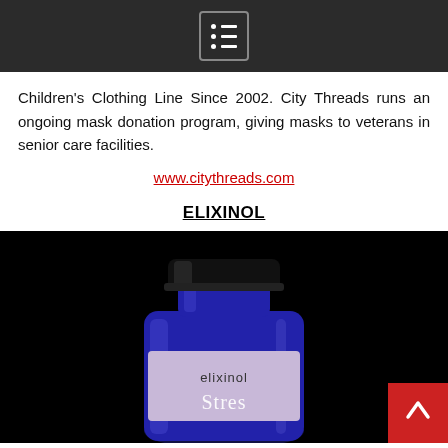[Menu icon / navigation bar]
Children's Clothing Line Since 2002. City Threads runs an ongoing mask donation program, giving masks to veterans in senior care facilities.
www.citythreads.com
ELIXINOL
[Figure (photo): A blue glass supplement bottle with a black cap, branded 'elixinol', partially showing the word 'Stress' on the label, photographed against a black background. A red scroll-to-top button with a white upward chevron is visible in the bottom-right corner.]